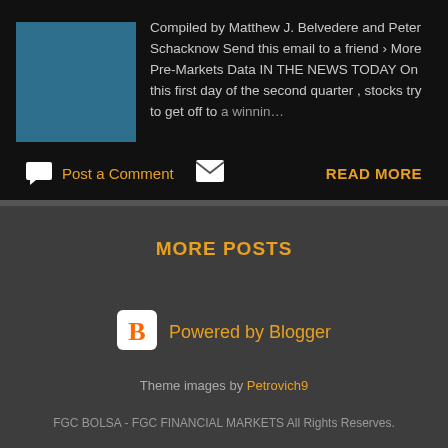Compiled by Matthew J. Belvedere and Peter Schacknow Send this email to a friend › More Pre-Markets Data IN THE NEWS TODAY On this first day of the second quarter , stocks try to get off to a winnin…
Post a Comment
READ MORE
MORE POSTS
Powered by Blogger
Theme images by Petrovich9
FGC BOLSA - FGC FINANCIAL MARKETS All Rights Reserves.